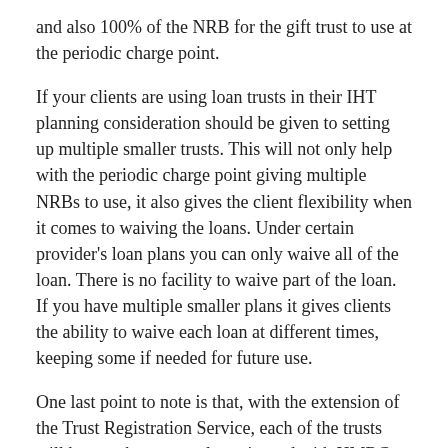and also 100% of the NRB for the gift trust to use at the periodic charge point.
If your clients are using loan trusts in their IHT planning consideration should be given to setting up multiple smaller trusts. This will not only help with the periodic charge point giving multiple NRBs to use, it also gives the client flexibility when it comes to waiving the loans. Under certain provider's loan plans you can only waive all of the loan. There is no facility to waive part of the loan. If you have multiple smaller plans it gives clients the ability to waive each loan at different times, keeping some if needed for future use.
One last point to note is that, with the extension of the Trust Registration Service, each of the trusts will have to be separately registered with HMRC.
This entry was posted in Financial Planning Week, Trusts and tagged IHT, Inheritance Tax, Tax Year End, trustees, TYE on